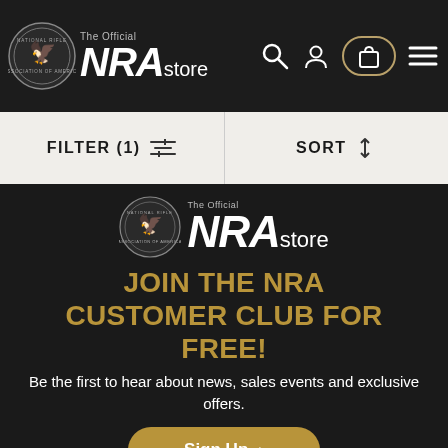The Official NRA store — navigation header with search, user, bag, and menu icons
FILTER (1)   SORT
[Figure (logo): NRA Store logo — circular seal with eagle and 'The Official NRAstore' wordmark on dark background]
JOIN THE NRA CUSTOMER CLUB FOR FREE!
Be the first to hear about news, sales events and exclusive offers.
Sign Up >